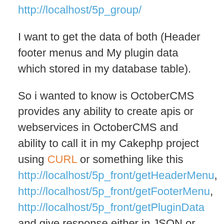http://localhost/5p_group/
I want to get the data of both (Header footer menus and My plugin data which stored in my database table).
So i wanted to know is OctoberCMS provides any ability to create apis or webservices in OctoberCMS and ability to call it in my Cakephp project using CURL or something like this http://localhost/5p_front/getHeaderMenu, http://localhost/5p_front/getFooterMenu, http://localhost/5p_front/getPluginData and give response either in JSON or XML ?
Any help or suggestions will be highly